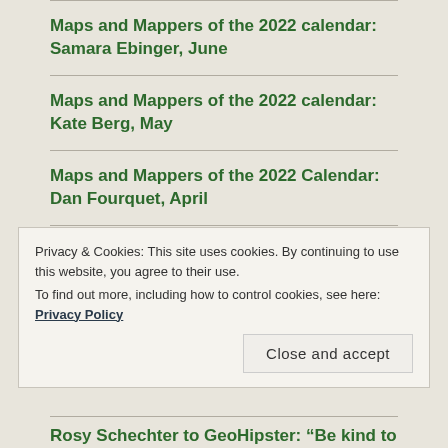Maps and Mappers of the 2022 calendar: Samara Ebinger, June
Maps and Mappers of the 2022 calendar: Kate Berg, May
Maps and Mappers of the 2022 Calendar: Dan Fourquet, April
Maps and Mappers of the 2022 calendar: Inge van Daelen, Cover
A Changing of the Guard at GeoHipster
Privacy & Cookies: This site uses cookies. By continuing to use this website, you agree to their use.
To find out more, including how to control cookies, see here: Privacy Policy
Rosy Schechter to GeoHipster: “Be kind to